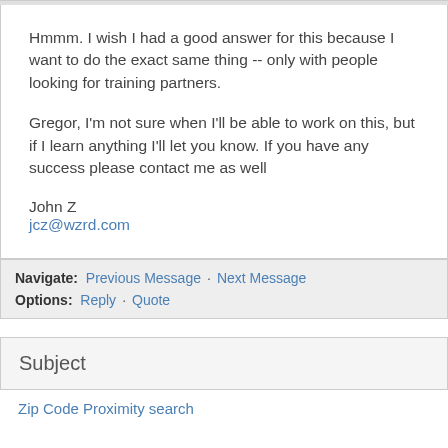Hmmm. I wish I had a good answer for this because I want to do the exact same thing -- only with people looking for training partners.

Gregor, I'm not sure when I'll be able to work on this, but if I learn anything I'll let you know. If you have any success please contact me as well

John Z
jcz@wzrd.com
Navigate: Previous Message · Next Message
Options: Reply · Quote
Subject
Zip Code Proximity search